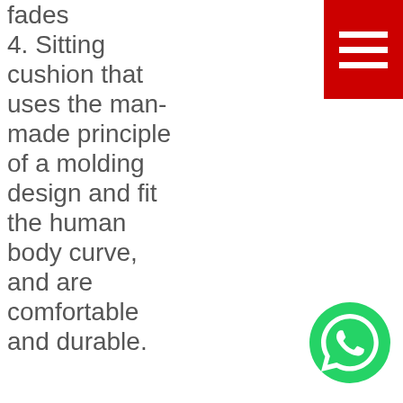fades
4. Sitting cushion that uses the man-made principle of a molding design and fit the human body curve, and are comfortable and durable.
[Figure (other): Red hamburger menu button with three white horizontal lines in top right corner]
[Figure (other): Green WhatsApp icon button in bottom right corner]